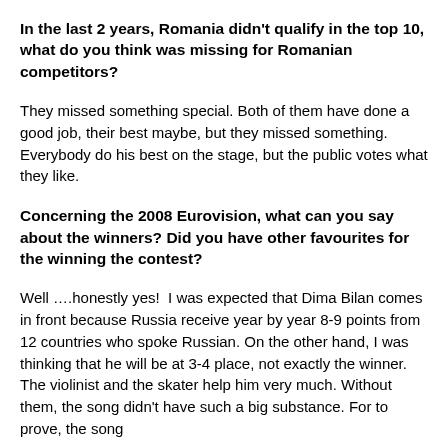In the last 2 years, Romania didn't qualify in the top 10, what do you think was missing for Romanian competitors?
They missed something special. Both of them have done a good job, their best maybe, but they missed something. Everybody do his best on the stage, but the public votes what they like.
Concerning the 2008 Eurovision, what can you say about the winners? Did you have other favourites for the winning the contest?
Well ….honestly yes!  I was expected that Dima Bilan comes in front because Russia receive year by year 8-9 points from 12 countries who spoke Russian. On the other hand, I was thinking that he will be at 3-4 place, not exactly the winner. The violinist and the skater help him very much. Without them, the song didn't have such a big substance. For to prove, the song